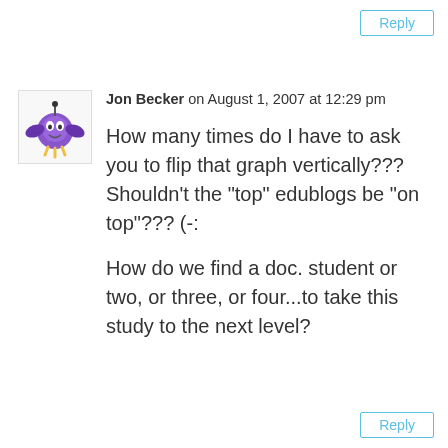Reply
[Figure (illustration): Avatar illustration of a purple cartoon monster/alien character with wings and antennae]
Jon Becker on August 1, 2007 at 12:29 pm
How many times do I have to ask you to flip that graph vertically??? Shouldn’t the “top” edublogs be “on top”??? (-:
How do we find a doc. student or two, or three, or four...to take this study to the next level?
Reply